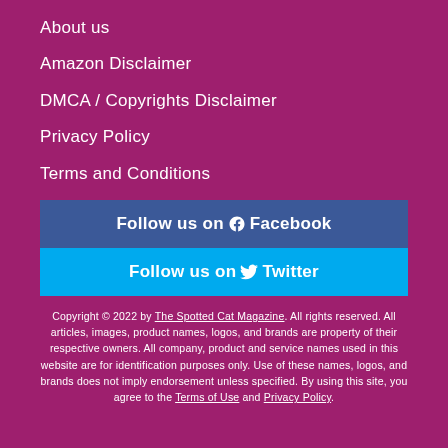About us
Amazon Disclaimer
DMCA / Copyrights Disclaimer
Privacy Policy
Terms and Conditions
Follow us on  Facebook
Follow us on  Twitter
Copyright © 2022 by The Spotted Cat Magazine. All rights reserved. All articles, images, product names, logos, and brands are property of their respective owners. All company, product and service names used in this website are for identification purposes only. Use of these names, logos, and brands does not imply endorsement unless specified. By using this site, you agree to the Terms of Use and Privacy Policy.